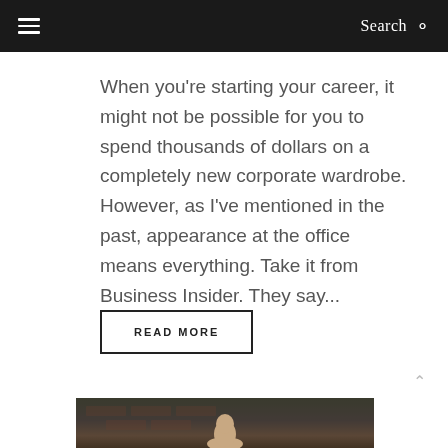☰  Search 🔍
When you're starting your career, it might not be possible for you to spend thousands of dollars on a completely new corporate wardrobe. However, as I've mentioned in the past, appearance at the office means everything. Take it from Business Insider. They say...
READ MORE
[Figure (photo): Photo of a person, partially visible, taken outdoors against a brick wall background with some green elements.]